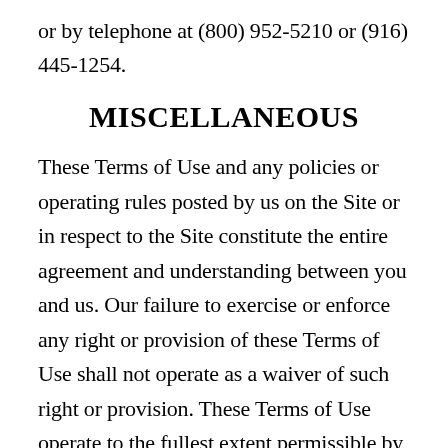or by telephone at (800) 952-5210 or (916) 445-1254.
MISCELLANEOUS
These Terms of Use and any policies or operating rules posted by us on the Site or in respect to the Site constitute the entire agreement and understanding between you and us. Our failure to exercise or enforce any right or provision of these Terms of Use shall not operate as a waiver of such right or provision. These Terms of Use operate to the fullest extent permissible by law. We may assign any or all of our rights and obligations to others at any time. We shall not be